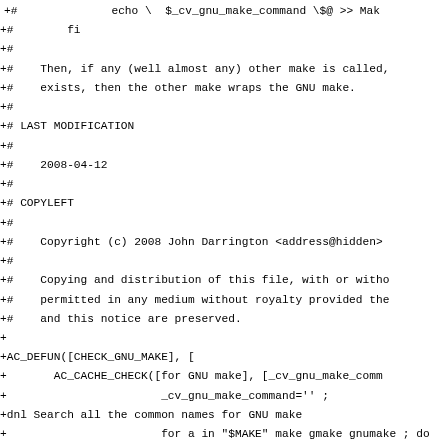+#              echo \ $_cv_gnu_make_command \$@ >> Mak
+#        fi
+#
+#    Then, if any (well almost any) other make is called,
+#    exists, then the other make wraps the GNU make.
+#
+# LAST MODIFICATION
+#
+#    2008-04-12
+#
+# COPYLEFT
+#
+#    Copyright (c) 2008 John Darrington <address@hidden>
+#
+#    Copying and distribution of this file, with or witho
+#    permitted in any medium without royalty provided the
+#    and this notice are preserved.
+
+AC_DEFUN([CHECK_GNU_MAKE], [
+       AC_CACHE_CHECK([for GNU make], [_cv_gnu_make_comm
+                       _cv_gnu_make_command='' ;
+dnl Search all the common names for GNU make
+                       for a in "$MAKE" make gmake gnumake ; do
+                         if test -z "$a" ; then continue ; fi
+                           if ( sh -c "$a --version" 2> /dev/nu
+                               2>&1 > /dev/null ) ;  then
+                           _cv_gnu_make_command=$a ;
+                           break;
+                         fi
+                   done ;